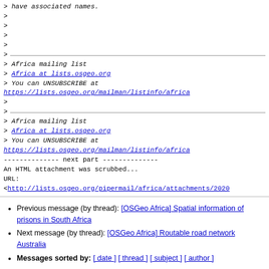> have associated names.
>
>
>
>
>
> Africa mailing list
> Africa at lists.osgeo.org
> You can UNSUBSCRIBE at
https://lists.osgeo.org/mailman/listinfo/africa
>
>
> Africa mailing list
> Africa at lists.osgeo.org
> You can UNSUBSCRIBE at
https://lists.osgeo.org/mailman/listinfo/africa
-------------- next part --------------
An HTML attachment was scrubbed...
URL:
<http://lists.osgeo.org/pipermail/africa/attachments/2020
Previous message (by thread): [OSGeo Africa] Spatial information of prisons in South Africa
Next message (by thread): [OSGeo Africa] Routable road network Australia
Messages sorted by: [ date ] [ thread ] [ subject ] [ author ]